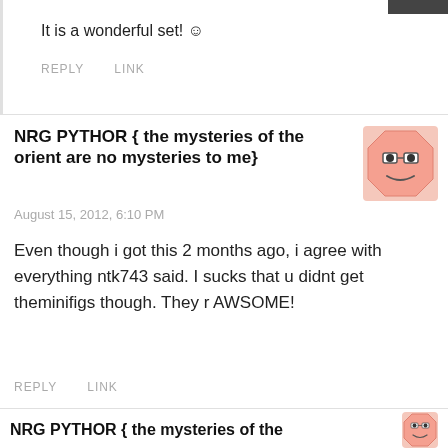It is a wonderful set! ☺
REPLY   LINK
NRG PYTHOR { the mysteries of the orient are no mysteries to me}
August 15, 2012, 6:10 PM
Even though i got this 2 months ago, i agree with everything ntk743 said. I sucks that u didnt get theminifigs though. They r AWSOME!
REPLY   LINK
NRG PYTHOR { the mysteries of the